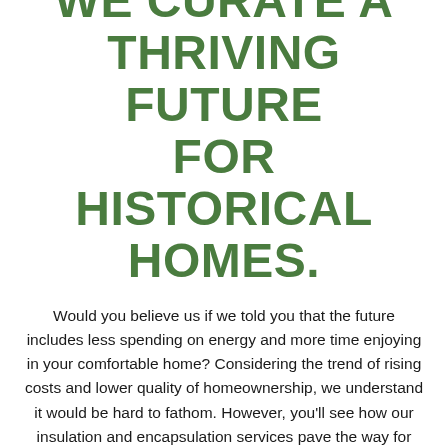WE CURATE A THRIVING FUTURE FOR HISTORICAL HOMES.
Would you believe us if we told you that the future includes less spending on energy and more time enjoying in your comfortable home? Considering the trend of rising costs and lower quality of homeownership, we understand it would be hard to fathom. However, you'll see how our insulation and encapsulation services pave the way for your property's bright future.